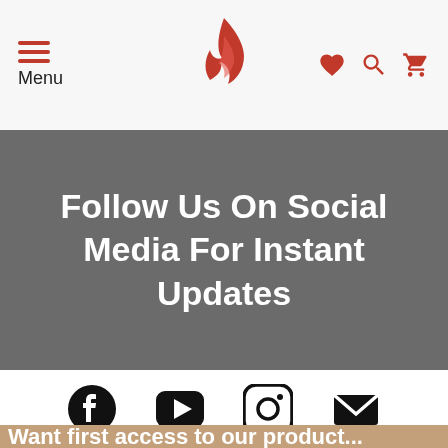Menu
[Figure (logo): Red flame/fire logo icon centered in header]
Follow Us On Social Media For Instant Updates
[Figure (infographic): Social media icons: Facebook, YouTube (play button), Instagram, Email/envelope]
Want first access to our product...